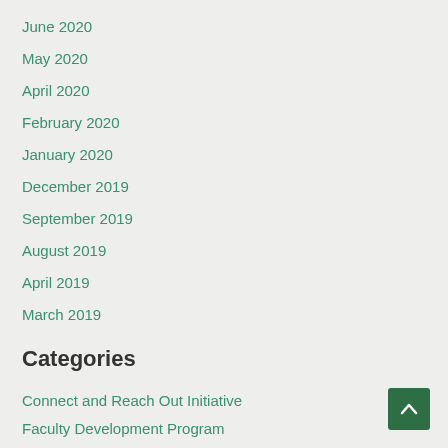June 2020
May 2020
April 2020
February 2020
January 2020
December 2019
September 2019
August 2019
April 2019
March 2019
Categories
Connect and Reach Out Initiative
Faculty Development Program